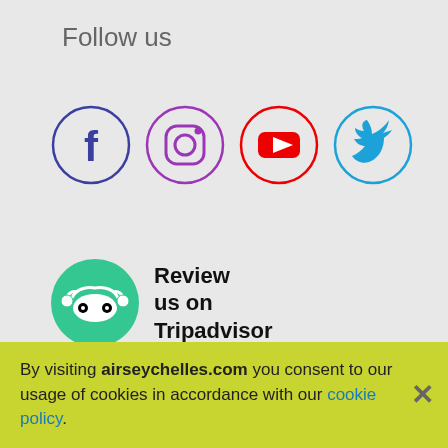Follow us
[Figure (illustration): Social media icons in circles: Facebook (dark blue circle, f logo), Instagram (purple circle, camera logo), YouTube (red circle, play button logo), Twitter (light blue circle, bird logo)]
[Figure (logo): Tripadvisor logo: green circle with owl/binoculars icon, next to bold text 'Review us on Tripadvisor']
Germany
English
Terms & Conditions  Privacy policy  Site map
By visiting airseychelles.com you consent to our usage of cookies in accordance with our cookie policy.